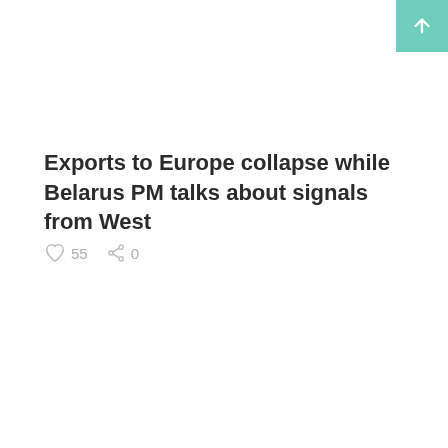Exports to Europe collapse while Belarus PM talks about signals from West
55   0